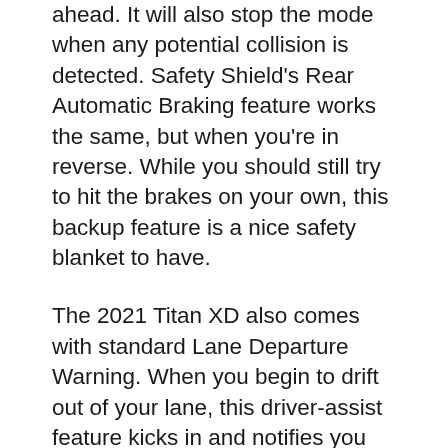ahead. It will also stop the mode when any potential collision is detected. Safety Shield's Rear Automatic Braking feature works the same, but when you're in reverse. While you should still try to hit the brakes on your own, this backup feature is a nice safety blanket to have.
The 2021 Titan XD also comes with standard Lane Departure Warning. When you begin to drift out of your lane, this driver-assist feature kicks in and notifies you with alerts. This feature does not activate as long as you use your turn signal to indicate your lane switching decision. However, when you fail to use your turn signal, it will make sure you're aware of the drift.
Blind Spot Warning and Rear Cross Traffic Alert are two of the more important features that are standard on the Titan XD. Blind Spot Warning activates every time a vehicle passes you on a multi-lane road. It flashes a warning in the corresponding exterior mirror to let you know it's not safe to switch lanes just yet. Similarly, Rear Cross Traffic Alert also detects unseen vehicles. This feature is best suited for parking lot driving, though. It can let you know when a vehicle is coming up the